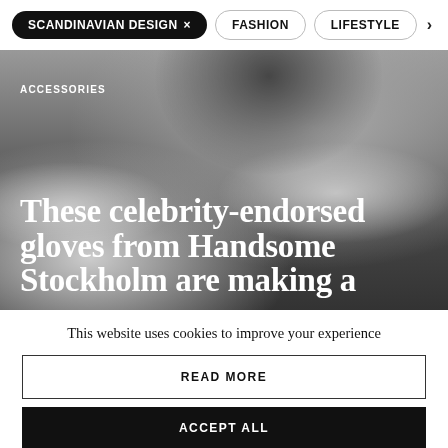SCANDINAVIAN DESIGN × | FASHION | LIFESTYLE
[Figure (photo): Grayscale photo of a person wearing a black leather jacket with white gloves, overlaid with article headline text about celebrity-endorsed gloves from Handsome Stockholm.]
ACCESSORIES
These celebrity-endorsed gloves from Handsome Stockholm are making a
This website uses cookies to improve your experience
READ MORE
ACCEPT ALL
Settings